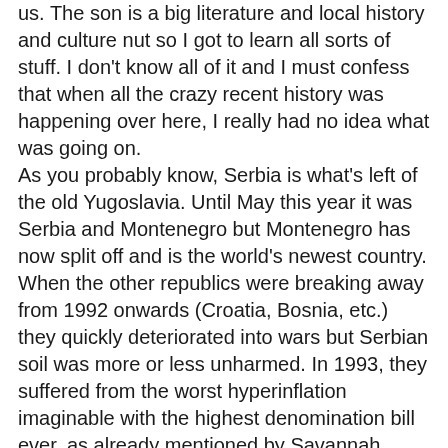us. The son is a big literature and local history and culture nut so I got to learn all sorts of stuff. I don't know all of it and I must confess that when all the crazy recent history was happening over here, I really had no idea what was going on. As you probably know, Serbia is what's left of the old Yugoslavia. Until May this year it was Serbia and Montenegro but Montenegro has now split off and is the world's newest country. When the other republics were breaking away from 1992 onwards (Croatia, Bosnia, etc.) they quickly deteriorated into wars but Serbian soil was more or less unharmed. In 1993, they suffered from the worst hyperinflation imaginable with the highest denomination bill ever, as already mentioned by Savannah. More recently they have been the bad guys of Europe (something they are not too happy about) with the whole Kosovo mess. We are hoping to get to Kosovo in a few weeks so I will save that story for then. Today though, you'd never really know it was so recently messed up. Things are gettting stabilized, the atmosphere is relaxed and Belgrade is much like any other European city. We were staying in New Belgrade, a recently built suburb